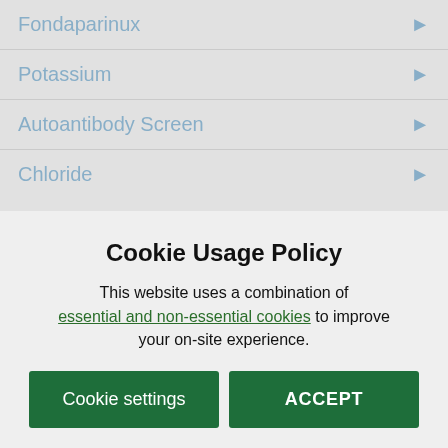Fondaparinux
Potassium
Autoantibody Screen
Chloride
Cookie Usage Policy
This website uses a combination of essential and non-essential cookies to improve your on-site experience.
Cookie settings
ACCEPT